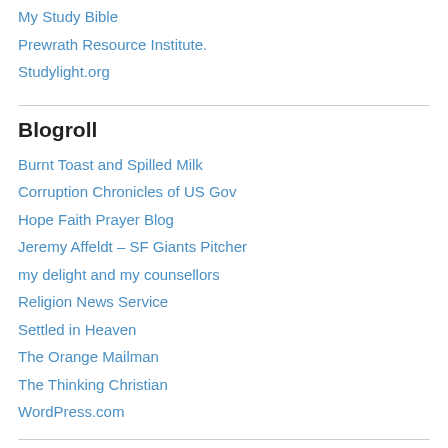My Study Bible
Prewrath Resource Institute.
Studylight.org
Blogroll
Burnt Toast and Spilled Milk
Corruption Chronicles of US Gov
Hope Faith Prayer Blog
Jeremy Affeldt – SF Giants Pitcher
my delight and my counsellors
Religion News Service
Settled in Heaven
The Orange Mailman
The Thinking Christian
WordPress.com
Christian American past, present & future